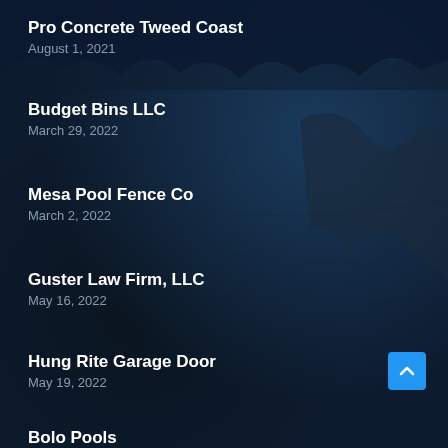Pro Concrete Tweed Coast
August 1, 2021
Budget Bins LLC
March 29, 2022
Mesa Pool Fence Co
March 2, 2022
Guster Law Firm, LLC
May 16, 2022
Hung Rite Garage Door
May 19, 2022
Bolo Pools (partial)